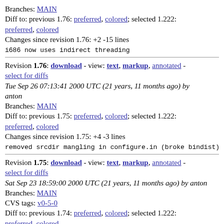Branches: MAIN
Diff to: previous 1.76: preferred, colored; selected 1.222: preferred, colored
Changes since revision 1.76: +2 -15 lines
i686 now uses indirect threading
Revision 1.76: download - view: text, markup, annotated - select for diffs
Tue Sep 26 07:13:41 2000 UTC (21 years, 11 months ago) by anton
Branches: MAIN
Diff to: previous 1.75: preferred, colored; selected 1.222: preferred, colored
Changes since revision 1.75: +4 -3 lines
removed srcdir mangling in configure.in (broke bindist)
Revision 1.75: download - view: text, markup, annotated - select for diffs
Sat Sep 23 18:59:00 2000 UTC (21 years, 11 months ago) by anton
Branches: MAIN
CVS tags: v0-5-0
Diff to: previous 1.74: preferred, colored; selected 1.222: preferred, colored
Changes since revision 1.74: +1 -1 lines